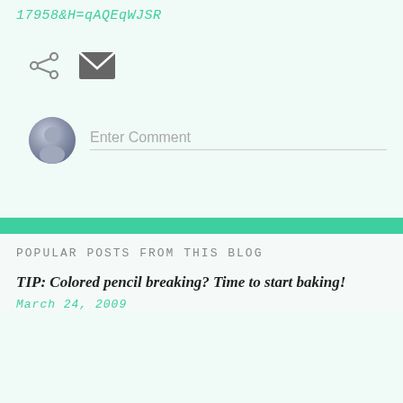17958&H=qAQEqWJSR
[Figure (infographic): Share icon (less-than symbol with dots) and email envelope icon]
[Figure (infographic): User avatar circle with silhouette and Enter Comment input field with underline]
Popular posts from this blog
TIP: Colored pencil breaking? Time to start baking!
March 24, 2009